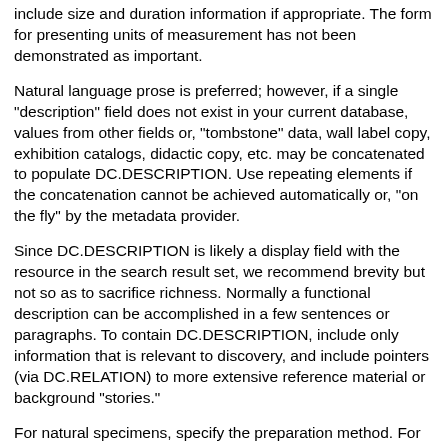include size and duration information if appropriate. The form for presenting units of measurement has not been demonstrated as important.
Natural language prose is preferred; however, if a single "description" field does not exist in your current database, values from other fields or, "tombstone" data, wall label copy, exhibition catalogs, didactic copy, etc. may be concatenated to populate DC.DESCRIPTION. Use repeating elements if the concatenation cannot be achieved automatically or, "on the fly" by the metadata provider.
Since DC.DESCRIPTION is likely a display field with the resource in the search result set, we recommend brevity but not so as to sacrifice richness. Normally a functional description can be accomplished in a few sentences or paragraphs. To contain DC.DESCRIPTION, include only information that is relevant to discovery, and include pointers (via DC.RELATION) to more extensive reference material or background "stories."
For natural specimens, specify the preparation method. For natural specimens with more than one scientific name, use this element to tie together the name, determiner and date for each in the form of a citation, using values from the DC.CREATOR, DC.TITLE, and DC.DATE elements. Where